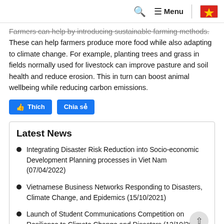Search | Menu | Vietnam flag
Farmers can help by introducing sustainable farming methods. These can help farmers produce more food while also adapting to climate change. For example, planting trees and grass in fields normally used for livestock can improve pasture and soil health and reduce erosion. This in turn can boost animal wellbeing while reducing carbon emissions.
[Figure (other): Facebook Like (Thich) and Share (Chia se) buttons]
Latest News
Integrating Disaster Risk Reduction into Socio-economic Development Planning processes in Viet Nam (07/04/2022)
Vietnamese Business Networks Responding to Disasters, Climate Change, and Epidemics (15/10/2021)
Launch of Student Communications Competition on Resilience to Climate Change and Disasters (12/10/2021)